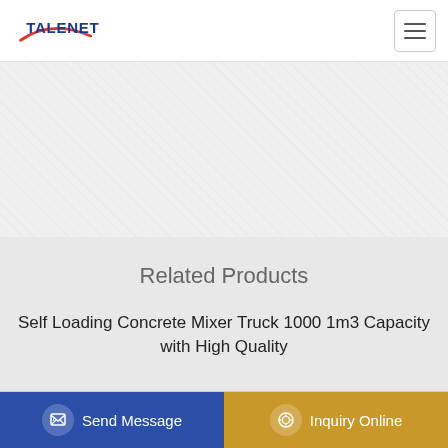[Figure (logo): TALENET company logo with red swoosh arc and blue text]
[Figure (photo): Light textured background hero image area, mostly white/light gray concrete texture]
Related Products
Self Loading Concrete Mixer Truck 1000 1m3 Capacity with High Quality
China Stationary Concrete Pump Mounted on Truck concreate batching plant pade in korea